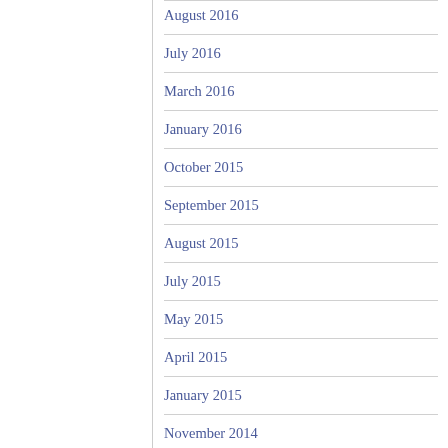August 2016
July 2016
March 2016
January 2016
October 2015
September 2015
August 2015
July 2015
May 2015
April 2015
January 2015
November 2014